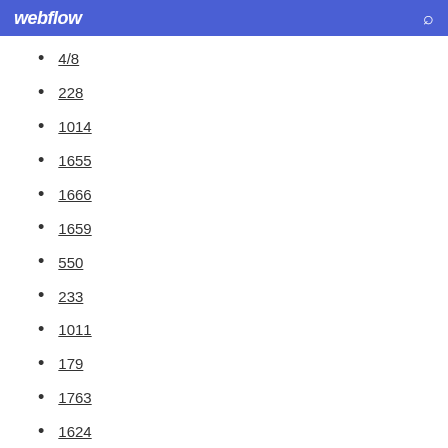webflow
4/8
228
1014
1655
1666
1659
550
233
1011
179
1763
1624
656